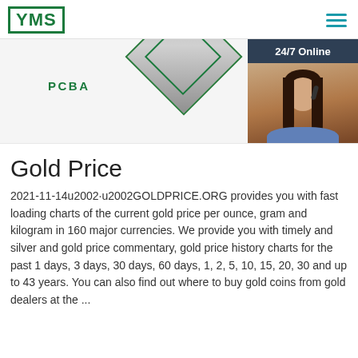[Figure (logo): YMS logo in green bordered box]
[Figure (infographic): Banner area with diamond/badge shape and PCBA label, 24/7 Online chat widget with woman wearing headset]
Gold Price
2021-11-14 u2002GOLDPRICE.ORG provides you with fast loading charts of the current gold price per ounce, gram and kilogram in 160 major currencies. We provide you with timely and silver and gold price commentary, gold price history charts for the past 1 days, 3 days, 30 days, 60 days, 1, 2, 5, 10, 15, 20, 30 and up to 43 years. You can also find out where to buy gold coins from gold dealers at the ...